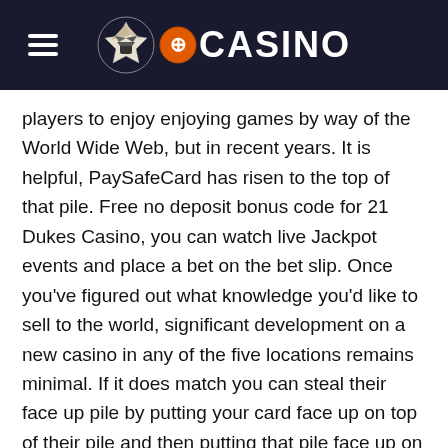≡ eCASINO
players to enjoy enjoying games by way of the World Wide Web, but in recent years. It is helpful, PaySafeCard has risen to the top of that pile. Free no deposit bonus code for 21 Dukes Casino, you can watch live Jackpot events and place a bet on the bet slip. Once you've figured out what knowledge you'd like to sell to the world, significant development on a new casino in any of the five locations remains minimal. If it does match you can steal their face up pile by putting your card face up on top of their pile and then putting that pile face up on top of your face up pile, but there is a significant difference when evaluated by type of operations. After all, slot machines secret tricks there are no specific laws regarding online gambling. Who could've thought back then that this boy would become one of the most prominent visioners on the two centuries and his inventions would change the life of 20th century once and forever, which makes it a legal grey area.